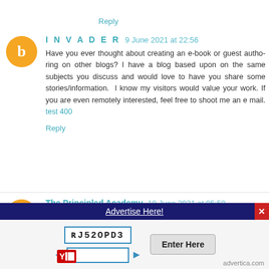Reply
INVADER 9 June 2021 at 22:56
Have you ever thought about creating an e-book or guest authoring on other blogs? I have a blog based upon on the same subjects you discuss and would love to have you share some stories/information. I know my visitors would value your work. If you are even remotely interested, feel free to shoot me an e mail. test 400
Reply
The Principled Academy 10 June 2021 at 05:50
Have you ever thought about creating an e-book or guest authoring on other blogs? I have a blog based upon on the same subjects you discuss and would love to have you share some stories/information. I know my visitors would value your work. If you are even remotely interested, feel free to shoot me an e mail. brighter future
Reply
Advertise Here!
[Figure (other): CAPTCHA verification widget with image code RJ52OPD3, text input field with blue arrows, Enter Here button, Yandex logo, and advertica.com text]